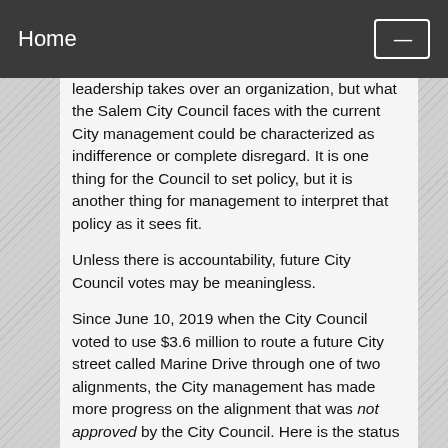Home
leadership takes over an organization, but what the Salem City Council faces with the current City management could be characterized as indifference or complete disregard. It is one thing for the Council to set policy, but it is another thing for management to interpret that policy as it sees fit.
Unless there is accountability, future City Council votes may be meaningless.
Since June 10, 2019 when the City Council voted to use $3.6 million to route a future City street called Marine Drive through one of two alignments, the City management has made more progress on the alignment that was not approved by the City Council. Here is the status update on each route.
Percent Surveyed -- The City has recently surveyed part of the alignment that the City